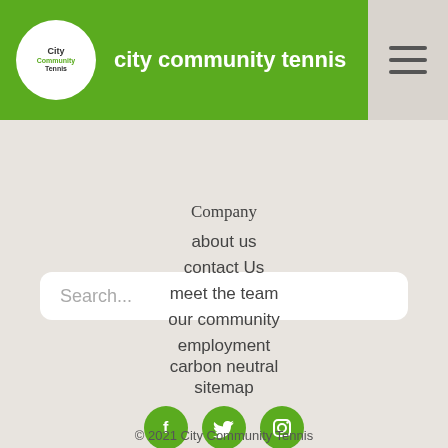city community tennis
Search...
Company
about us
contact Us
meet the team
our community
employment
carbon neutral
sitemap
[Figure (infographic): Three green circular social media icons: Facebook (f), Twitter (bird), Instagram (camera)]
© 2021 City Community Tennis